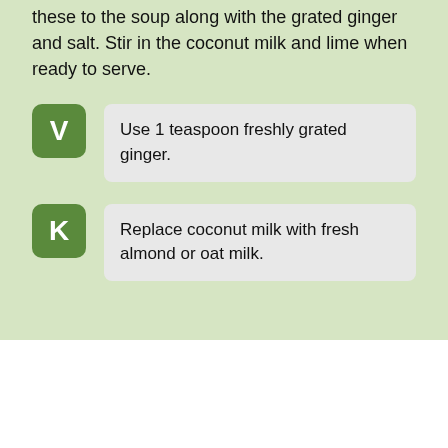these to the soup along with the grated ginger and salt. Stir in the coconut milk and lime when ready to serve.
V — Use 1 teaspoon freshly grated ginger.
K — Replace coconut milk with fresh almond or oat milk.